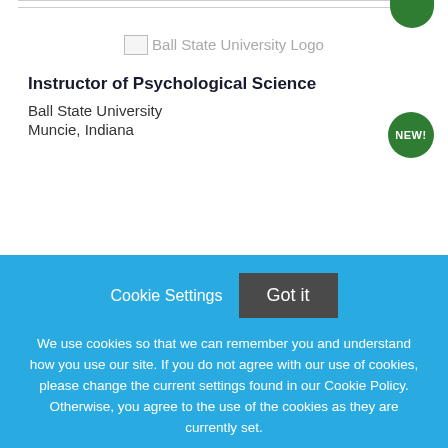[Figure (logo): Ball State University Logo placeholder image with alt text]
Instructor of Psychological Science
Ball State University
Muncie, Indiana
Cookie Settings  Got it
We use cookies so that we can remember you and understand how you use our site. If you do not agree with our use of cookies, please change the current settings found in our Cookie Policy. Otherwise, you agree to the use of the cookies as they are currently set.